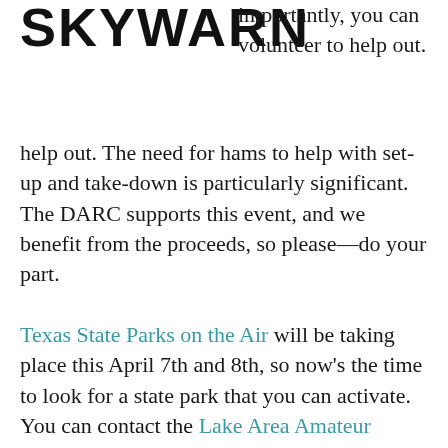[Figure (logo): SKYWARN logo in bold black uppercase text]
importantly, you can volunteer to help out. The need for hams to help with set-up and take-down is particularly significant. The DARC supports this event, and we benefit from the proceeds, so please—do your part.
Texas State Parks on the Air will be taking place this April 7th and 8th, so now's the time to look for a state park that you can activate. You can contact the Lake Area Amateur Radio Klub for more information.
...